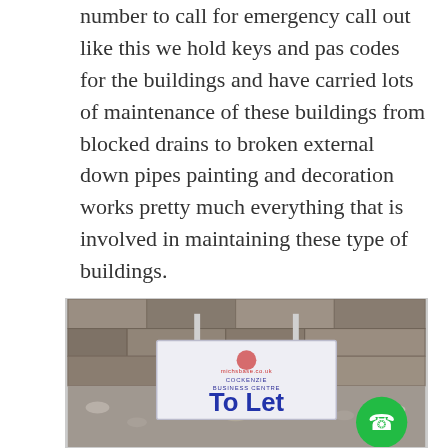number to call for emergency call out like this we hold keys and pas codes for the buildings and have carried lots of maintenance of these buildings from blocked drains to broken external down pipes painting and decoration works pretty much everything that is involved in maintaining these type of buildings.
If you manage buildings like this and require a Reactive maintenance team please contact our office to discuss your requirements.
[Figure (photo): A 'To Let' sign lying on gravel against a stone wall background, showing a logo and text 'COCKENZIE BUSINESS CENTRE' with large blue 'To Let' text. A green phone call button is overlaid in the bottom right corner.]